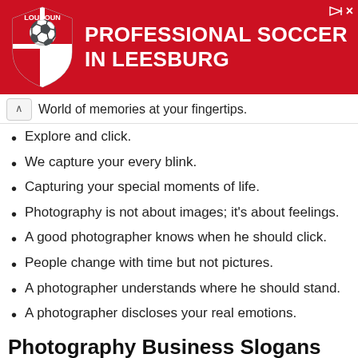[Figure (logo): Loudoun Soccer red ad banner with shield logo and text PROFESSIONAL SOCCER IN LEESBURG]
World of memories at your fingertips.
Explore and click.
We capture your every blink.
Capturing your special moments of life.
Photography is not about images; it's about feelings.
A good photographer knows when he should click.
People change with time but not pictures.
A photographer understands where he should stand.
A photographer discloses your real emotions.
Photography Business Slogans